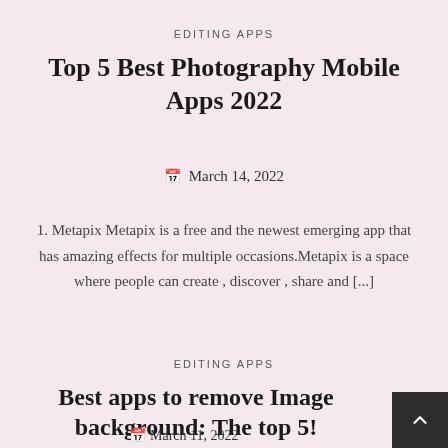EDITING APPS
Top 5 Best Photography Mobile Apps 2022
March 14, 2022
1. Metapix Metapix is a free and the newest emerging app that has amazing effects for multiple occasions.Metapix is a space where people can create , discover , share and [...]
EDITING APPS
Best apps to remove Image background: The top 5!
March 11, 2022